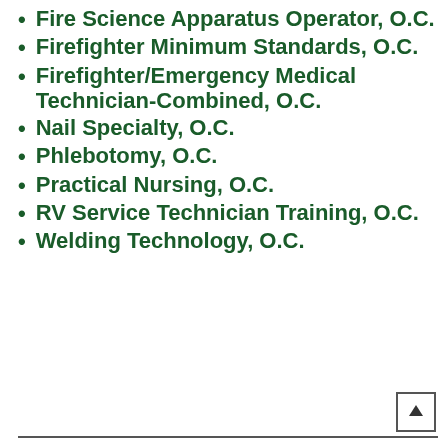Fire Science Apparatus Operator, O.C.
Firefighter Minimum Standards, O.C.
Firefighter/Emergency Medical Technician-Combined, O.C.
Nail Specialty, O.C.
Phlebotomy, O.C.
Practical Nursing, O.C.
RV Service Technician Training, O.C.
Welding Technology, O.C.